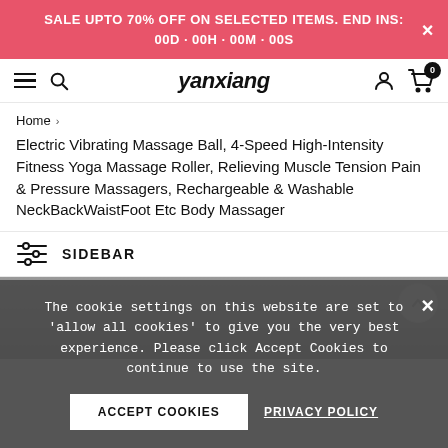SALE UPTO 70% OFF ON SELECTED ITEMS. END INS: 00D · 00H · 00M · 00S
yanxiang
Home > Electric Vibrating Massage Ball, 4-Speed High-Intensity Fitness Yoga Massage Roller, Relieving Muscle Tension Pain & Pressure Massagers, Rechargeable & Washable NeckBackWaistFoot Etc Body Massager
SIDEBAR
[Figure (photo): Dark massage ball product image partially visible]
The cookie settings on this website are set to 'allow all cookies' to give you the very best experience. Please click Accept Cookies to continue to use the site.
ACCEPT COOKIES   PRIVACY POLICY